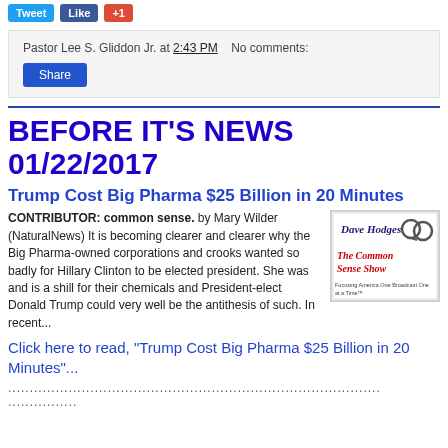Tweet | Like | +1
Pastor Lee S. Gliddon Jr. at 2:43 PM   No comments:
Share
BEFORE IT'S NEWS 01/22/2017
Trump Cost Big Pharma $25 Billion in 20 Minutes
CONTRIBUTOR: common sense. by Mary Wilder (NaturalNews) It is becoming clearer and clearer why the Big Pharma-owned corporations and crooks wanted so badly for Hillary Clinton to be elected president. She was and is a shill for their chemicals and President-elect Donald Trump could very well be the antithesis of such. In recent...
[Figure (illustration): Dave Hodges The Common Sense Show logo with handcuffs graphic]
Click here to read, "Trump Cost Big Pharma $25 Billion in 20 Minutes"...
......................................................................................